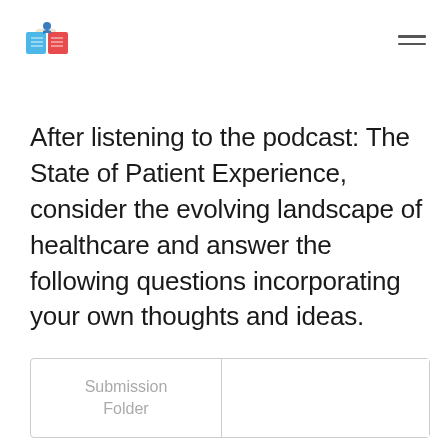[Logo: Teaching Project Studies] [Hamburger menu icon]
After listening to the podcast: The State of Patient Experience, consider the evolving landscape of healthcare and answer the following questions incorporating your own thoughts and ideas.
| Submission Folder |  |
| --- | --- |